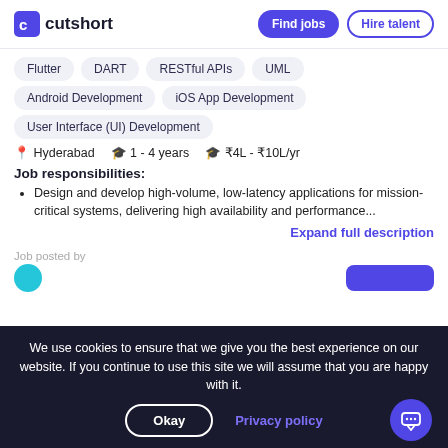cutshort | Find jobs | Hire talent
Flutter
DART
RESTful APIs
UML
Android Development
iOS App Development
User Interface (UI) Development
Hyderabad   1 - 4 years   ₹4L - ₹10L/yr
Job responsibilities:
Design and develop high-volume, low-latency applications for mission-critical systems, delivering high availability and performance...
Expand full description
Job posted by
We use cookies to ensure that we give you the best experience on our website. If you continue to use this site we will assume that you are happy with it.
Okay
Privacy policy